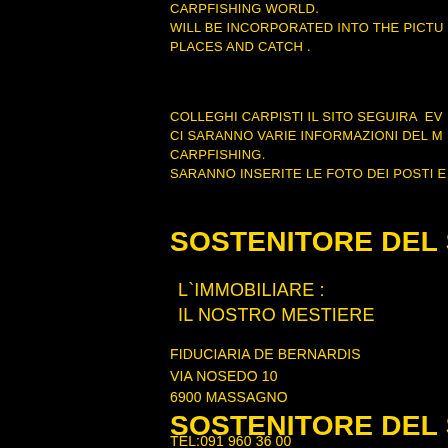CARPFISHING WORLD.
WILL BE INCORPORATED INTO THE PICTU
PLACES AND CATCH .
COLLEGHI CARPISTI IL SITO SEGUIRA EV
CI SARANNO VARIE INFORMAZIONI DEL M
CARPFISHING.
SARANNO INSERITE LE FOTO DEI POSTI E
SOSTENITORE DEL SITO
L`IMMOBILIARE :
IL NOSTRO MESTIERE
FIDUCIARIA DE BERNARDIS
VIA NOSEDO 10
6900 MASSAGNO

TEL:091 960 36 00
FAX: 091 960 36 09
EMAIL: c-v@debernardis.ch
SOSTENITORE DEL SITO